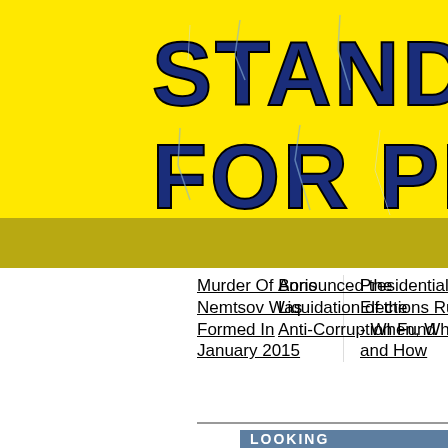[Figure (logo): Yellow banner with large bold dark blue distressed/cracked text reading STANDING FOR PEA (partially visible, full text STANDING FOR PEACE)]
Murder Of Boris Nemtsov Was Formed In January 2015
Announced the Liquidation of the Anti-Corruption Fund
Presidential Elections Russia - When, Where and How
[Figure (other): Blue button/banner with white bold text reading LOOKING]